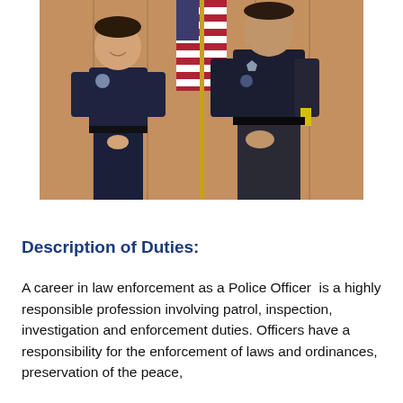[Figure (photo): Two police officers in dark navy uniforms standing in front of an American flag against a wood-paneled wall. The officer on the left is a woman smiling, and the officer on the right is a taller man. Both wear badges and duty belts.]
Description of Duties:
A career in law enforcement as a Police Officer is a highly responsible profession involving patrol, inspection, investigation and enforcement duties. Officers have a responsibility for the enforcement of laws and ordinances, preservation of the peace,